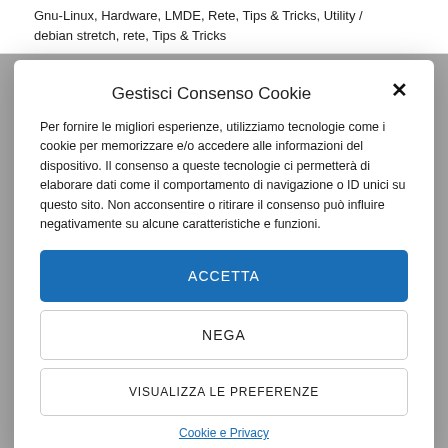Gnu-Linux, Hardware, LMDE, Rete, Tips & Tricks, Utility / debian stretch, rete, Tips & Tricks
Gestisci Consenso Cookie
Per fornire le migliori esperienze, utilizziamo tecnologie come i cookie per memorizzare e/o accedere alle informazioni del dispositivo. Il consenso a queste tecnologie ci permetterà di elaborare dati come il comportamento di navigazione o ID unici su questo sito. Non acconsentire o ritirare il consenso può influire negativamente su alcune caratteristiche e funzioni.
ACCETTA
NEGA
VISUALIZZA LE PREFERENZE
Cookie e Privacy